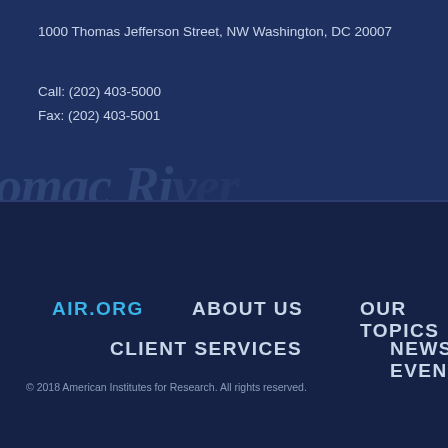1000 Thomas Jefferson Street, NW Washington, DC 20007
Call: (202) 403-5000
Fax: (202) 403-5001
[Figure (illustration): Partially visible watermark text 'omac Ri...' in stylized italic font, representing 'Potomac River' in faded blue overlay]
AIR.ORG
ABOUT US
OUR TOPICS
CLIENT SERVICES
NEWS & EVENTS
© 2018 American Institutes for Research. All rights reserved.